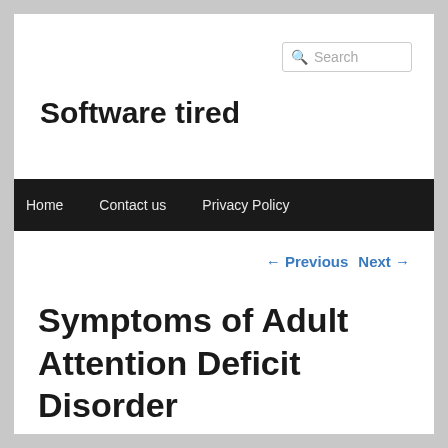Software tired
Search
Home   Contact us   Privacy Policy
← Previous   Next →
Symptoms of Adult Attention Deficit Disorder